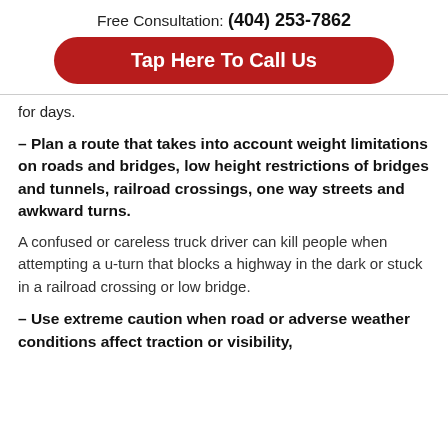Free Consultation: (404) 253-7862
Tap Here To Call Us
for days.
– Plan a route that takes into account weight limitations on roads and bridges, low height restrictions of bridges and tunnels, railroad crossings, one way streets and awkward turns.
A confused or careless truck driver can kill people when attempting a u-turn that blocks a highway in the dark or stuck in a railroad crossing or low bridge.
– Use extreme caution when road or adverse weather conditions affect traction or visibility,